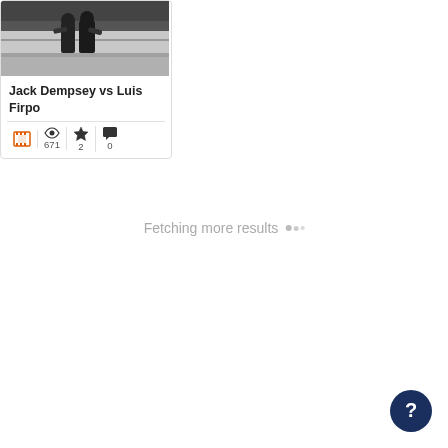[Figure (screenshot): A media card showing a black and white thumbnail of a boxing match (Jack Dempsey vs Luis Firpo), with title text, and metadata icons showing film reel, 671 views, 2 favorites, 0 comments.]
Fetching more results …
[Figure (other): Dark navy circular help/question mark button in bottom-right corner]